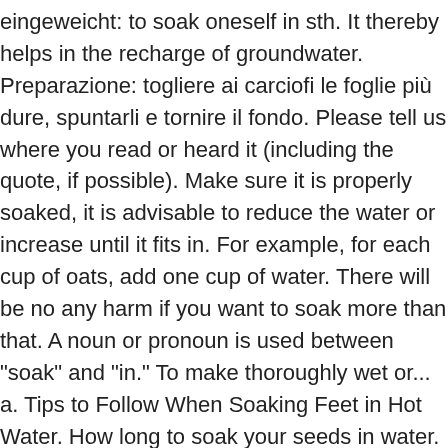eingeweicht: to soak oneself in sth. It thereby helps in the recharge of groundwater. Preparazione: togliere ai carciofi le foglie più dure, spuntarli e tornire il fondo. Please tell us where you read or heard it (including the quote, if possible). Make sure it is properly soaked, it is advisable to reduce the water or increase until it fits in. For example, for each cup of oats, add one cup of water. There will be no any harm if you want to soak more than that. A noun or pronoun is used between "soak" and "in." To make thoroughly wet or... a. Tips to Follow When Soaking Feet in Hot Water. How long to soak your seeds in water. 1. verb If you soak something or leave it to soak, you put it into a liquid and leave it there. A soak pit is a covered, porous-walled chamber that allows water to slowly soak into the ground and also known as a soakaway or leach pit, and the